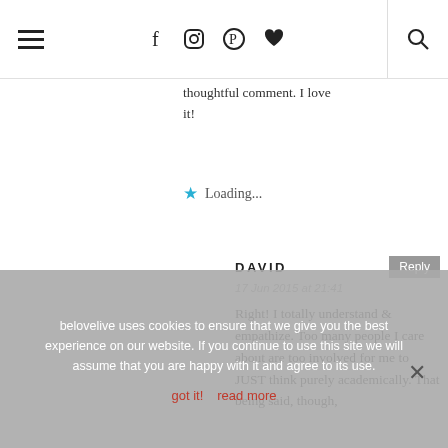☰  f  Instagram  Pinterest  ♥  🔍
thoughtful comment. I love it!
⭐ Loading...
DAVID  Reply  17 Jun 2015 at 21:41
Right! I totally understand & empathize. Too many people I care about are too involved for me to JUST think purely academically. That being said, though,
belovelive uses cookies to ensure that we give you the best experience on our website. If you continue to use this site we will assume that you are happy with it and agree to its use. got it!  read more